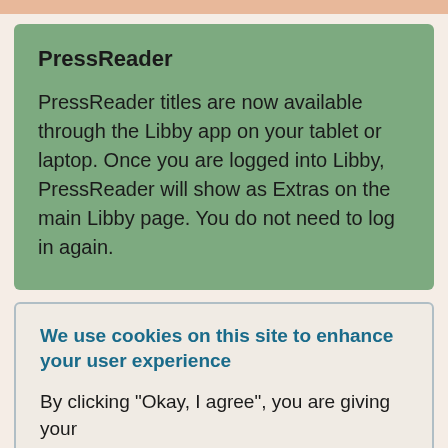PressReader
PressReader titles are now available through the Libby app on your tablet or laptop. Once you are logged into Libby, PressReader will show as Extras on the main Libby page. You do not need to log in again.
We use cookies on this site to enhance your user experience
By clicking "Okay, I agree", you are giving your